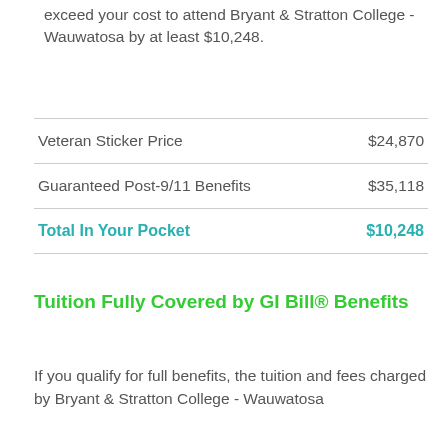exceed your cost to attend Bryant & Stratton College - Wauwatosa by at least $10,248.
|  |  |
| --- | --- |
| Veteran Sticker Price | $24,870 |
| Guaranteed Post-9/11 Benefits | $35,118 |
| Total In Your Pocket | $10,248 |
Tuition Fully Covered by GI Bill® Benefits
If you qualify for full benefits, the tuition and fees charged by Bryant & Stratton College - Wauwatosa